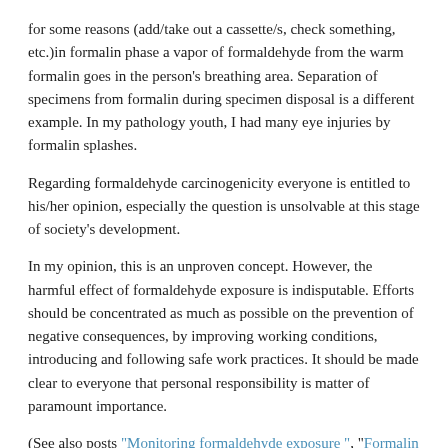for some reasons (add/take out a cassette/s, check something, etc.)in formalin phase a vapor of formaldehyde from the warm formalin goes in the person's breathing area. Separation of specimens from formalin during specimen disposal is a different example. In my pathology youth, I had many eye injuries by formalin splashes.
Regarding formaldehyde carcinogenicity everyone is entitled to his/her opinion, especially the question is unsolvable at this stage of society's development.
In my opinion, this is an unproven concept. However, the harmful effect of formaldehyde exposure is indisputable. Efforts should be concentrated as much as possible on the prevention of negative consequences, by improving working conditions, introducing and following safe work practices. It should be made clear to everyone that personal responsibility is matter of paramount importance.
(See also posts "Monitoring formaldehyde exposure ", "Formalin Spills and Splashes", as well as the summarized article"Formalin safety in the surgical pathology laboratory" in the Safety section. Although the article is too long for a website, it provides a comprehensive approach to formalin safety topics that are presented in separate website's posts. It is an "uncensored by reviewers" variant of the article which has been published in LabMedicine in 2009 )